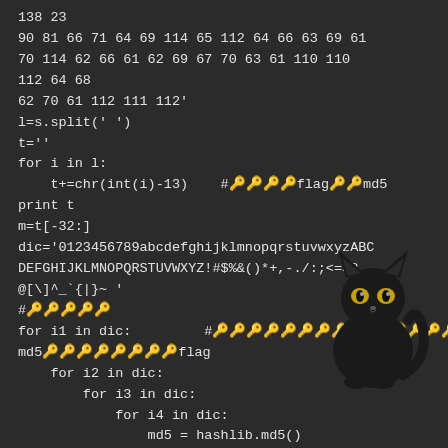138 23
90 81 66 71 64 69 114 65 112 64 66 63 69 61
70 114 62 66 61 62 69 67 70 63 61 110 110
112 64 68
62 70 61 112 111 112'
l=s.split(' ')
t=''
for i in l:
    t+=chr(int(i)-13)    #🔑🔑🔑🔑flag🔑🔑md5
print t
m=t[-32:]
dic='0123456789abcdefghijklmnopqrstuvwxyzABC
DEFGHIJKLMNOPQRSTUVWXYZ!#$%&()*+,-./:;<=>?
@[\]^_`{|}~ '
#🔑🔑🔑🔑🔑
for i1 in dic:         #🔑🔑🔑🔑🔑🔑🔑🔑🔑md5🔑🔑🔑🔑
md5🔑🔑🔑🔑🔑🔑🔑🔑flag
    for i2 in dic:
        for i3 in dic:
            for i4 in dic:
                md5 = hashlib.md5()
[Figure (illustration): Black cat sitting, with glowing yellow eyes, positioned on the right side of the code block]